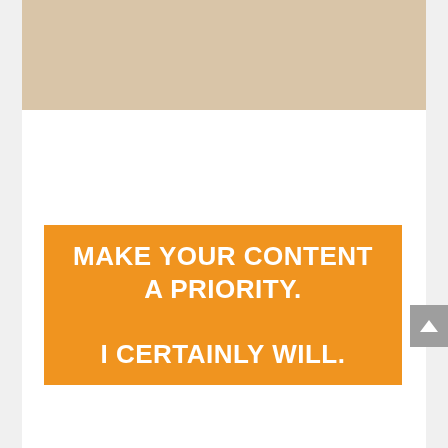[Figure (photo): Beige/tan colored image strip at the top of the page]
MAKE YOUR CONTENT A PRIORITY. I CERTAINLY WILL.